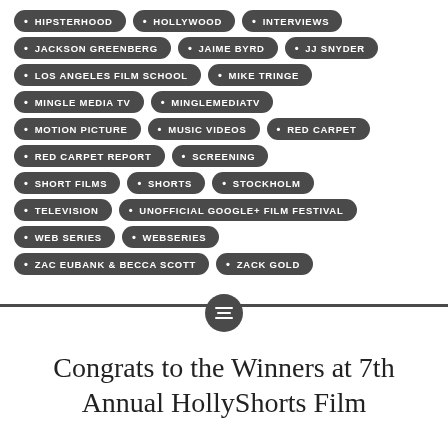HIPSTERHOOD
HOLLYWOOD
INTERVIEWS
JACKSON GREENBERG
JAIME BYRD
JJ SNYDER
LOS ANGELES FILM SCHOOL
MIKE TRINGE
MINGLE MEDIA TV
MINGLEMEDIATV
MOTION PICTURE
MUSIC VIDEOS
RED CARPET
RED CARPET REPORT
SCREENING
SHORT FILMS
SHORTS
STOCKHOLM
TELEVISION
UNOFFICIAL GOOGLE+ FILM FESTIVAL
WEB SERIES
WEBSERIES
ZAC EUBANK & BECCA SCOTT
ZACK GOLD
Congrats to the Winners at 7th Annual HollyShorts Film